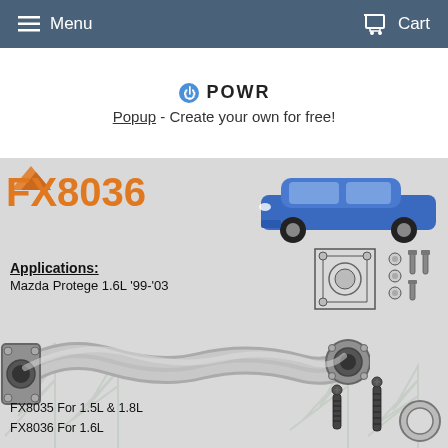Menu  Cart
[Figure (logo): POWR logo with plug icon and text 'POWR', followed by 'Popup - Create your own for free!' text with underlined Popup link]
[Figure (photo): Product image showing FX8036 exhaust manifold front pipe for Mazda Protege 1.6L with part number label, applications list, blue Mazda car, gasket hardware kit, exhaust pipe component, and small bolts/ring at bottom. Text: Applications: Mazda Protege 1.6L '99-'03. FX8035 For 1.5L & 1.8L, FX8036 For 1.6L]